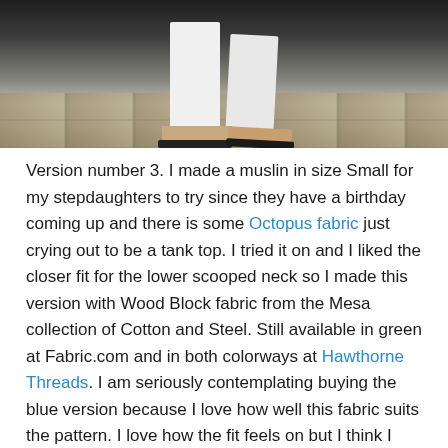[Figure (photo): Photo of a person wearing white loose pants and flip-flop sandals, standing on a tiled floor. Only the lower legs and feet are visible.]
Version number 3. I made a muslin in size Small for my stepdaughters to try since they have a birthday coming up and there is some Octopus fabric just crying out to be a tank top. I tried it on and I liked the closer fit for the lower scooped neck so I made this version with Wood Block fabric from the Mesa collection of Cotton and Steel. Still available in green at Fabric.com and in both colorways at Hawthorne Threads. I am seriously contemplating buying the blue version because I love how well this fabric suits the pattern. I love how the fit feels on but I think I need to try another version cutting between the Small and Medium lines. The Medium is a little more blousy than I like. I didn't realize it until I wore it all day.